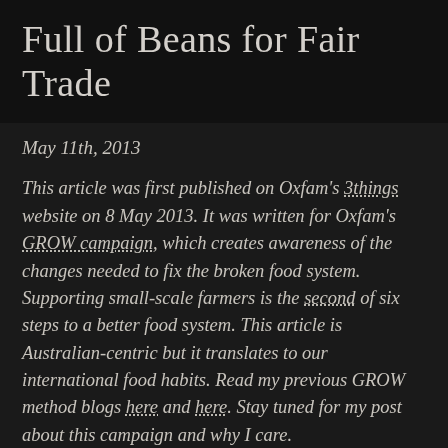Full of Beans for Fair Trade
May 11th, 2013
This article was first published on Oxfam's 3things website on 8 May 2013. It was written for Oxfam's GROW campaign, which creates awareness of the changes needed to fix the broken food system. Supporting small-scale farmers is the second of six steps to a better food system. This article is Australian-centric but it translates to our international food habits. Read my previous GROW method blogs here and here. Stay tuned for my post about this campaign and why I care.